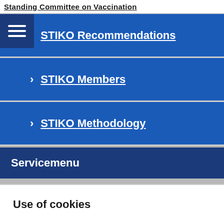Standing Committee on Vaccination
STIKO Recommendations
STIKO Members
STIKO Methodology
Servicemenu
Contact
Sitemap
Imprint
Data Privacy Statement
Use of cookies